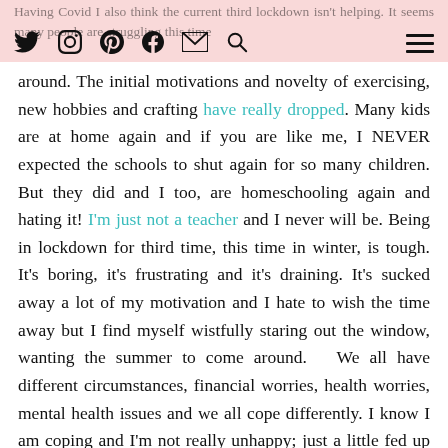Having Covid I also think the current third lockdown isn't helping. It seems many people are struggling this time around. [navigation icons: Twitter, Instagram, Pinterest, Facebook, Email, Search] [hamburger menu]
around. The initial motivations and novelty of exercising, new hobbies and crafting have really dropped. Many kids are at home again and if you are like me, I NEVER expected the schools to shut again for so many children. But they did and I too, are homeschooling again and hating it! I'm just not a teacher and I never will be. Being in lockdown for third time, this time in winter, is tough. It's boring, it's frustrating and it's draining. It's sucked away a lot of my motivation and I hate to wish the time away but I find myself wistfully staring out the window, wanting the summer to come around.  We all have different circumstances, financial worries, health worries, mental health issues and we all cope differently. I know I am coping and I'm not really unhappy; just a little fed up now and then. I thought I'd write about coping with lockdown 3 from my point of view, for some tips for others and to